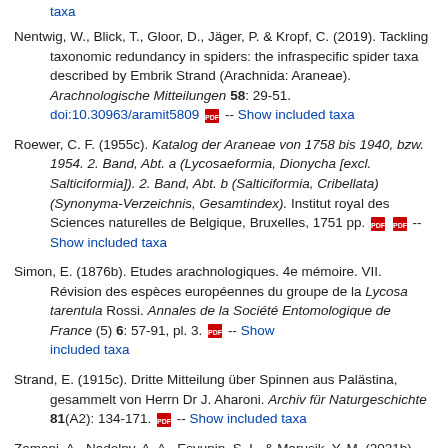taxa
Nentwig, W., Blick, T., Gloor, D., Jäger, P. & Kropf, C. (2019). Tackling taxonomic redundancy in spiders: the infraspecific spider taxa described by Embrik Strand (Arachnida: Araneae). Arachnologische Mitteilungen 58: 29-51. doi:10.30963/aramit5809 -- Show included taxa
Roewer, C. F. (1955c). Katalog der Araneae von 1758 bis 1940, bzw. 1954. 2. Band, Abt. a (Lycosaeformia, Dionycha [excl. Salticiformia]). 2. Band, Abt. b (Salticiformia, Cribellata) (Synonyma-Verzeichnis, Gesamtindex). Institut royal des Sciences naturelles de Belgique, Bruxelles, 1751 pp. -- Show included taxa
Simon, E. (1876b). Etudes arachnologiques. 4e mémoire. VII. Révision des espèces européennes du groupe de la Lycosa tarentula Rossi. Annales de la Société Entomologique de France (5) 6: 57-91, pl. 3. -- Show included taxa
Strand, E. (1915c). Dritte Mitteilung über Spinnen aus Palästina, gesammelt von Herrn Dr J. Aharoni. Archiv für Naturgeschichte 81(A2): 134-171. -- Show included taxa
Zamani, A., Nadolny, A. A., Esyunin, S. L. & Marusik, Y. M. (2021b). New